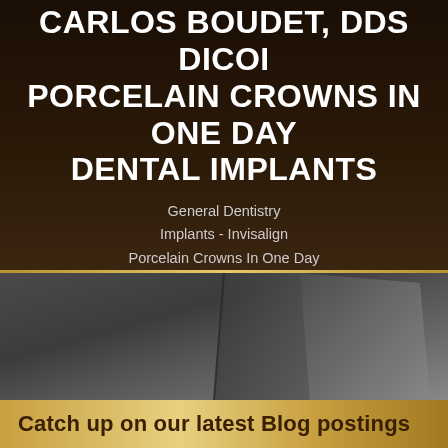CARLOS BOUDET, DDS DICOI PORCELAIN CROWNS IN ONE DAY DENTAL IMPLANTS
General Dentistry
Implants - Invisalign
Porcelain Crowns In One Day
[Figure (photo): Dark gray background with a partially visible open book or folder, serving as the backdrop for the welcome blog section]
Welcome To Our Blog!
Catch up on our latest Blog postings